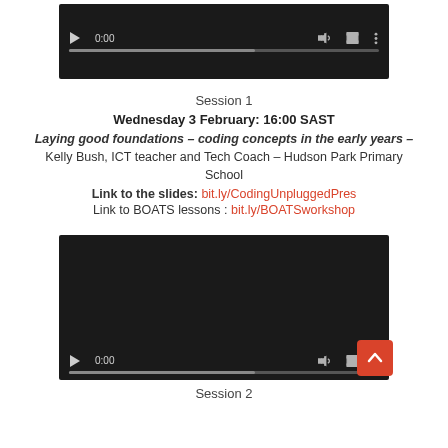[Figure (screenshot): Video player with black background showing 0:00 timestamp and playback controls]
Session 1
Wednesday 3 February: 16:00 SAST
Laying good foundations – coding concepts in the early years – Kelly Bush, ICT teacher and Tech Coach – Hudson Park Primary School
Link to the slides: bit.ly/CodingUnpluggedPres
Link to BOATS lessons : bit.ly/BOATSworkshop
[Figure (screenshot): Second video player with black background showing 0:00 timestamp and playback controls]
Session 2